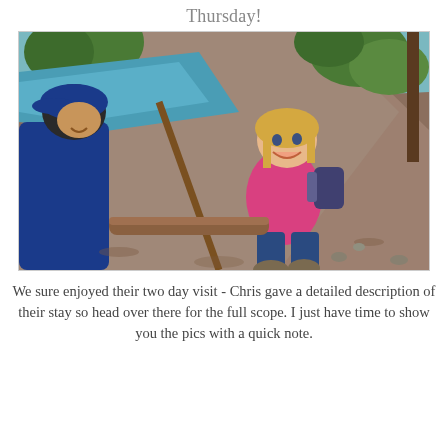Thursday!
[Figure (photo): A young blonde girl wearing a pink top, blue jeans and a small backpack smiles at the camera while hiking on a rocky trail. An adult in a blue jacket holds a walking stick on the left. Blue water and green trees are visible in the background.]
We sure enjoyed their two day visit - Chris gave a detailed description of their stay so head over there for the full scope. I just have time to show you the pics with a quick note.